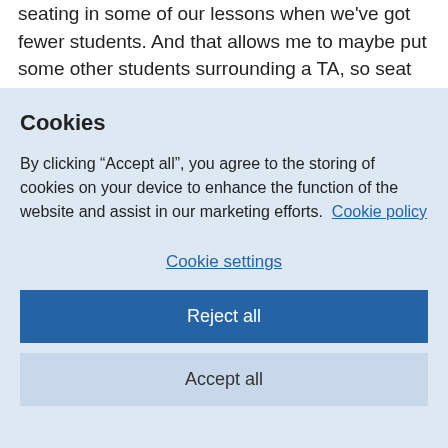seating in some of our lessons when we've got fewer students. And that allows me to maybe put some other students surrounding a TA, so seat the TA in the middle and have maybe three or four students maybe require their attention. They also ask what sort of things we'll do in
Cookies
By clicking “Accept all”, you agree to the storing of cookies on your device to enhance the function of the website and assist in our marketing efforts.  Cookie policy
Cookie settings
Reject all
Accept all